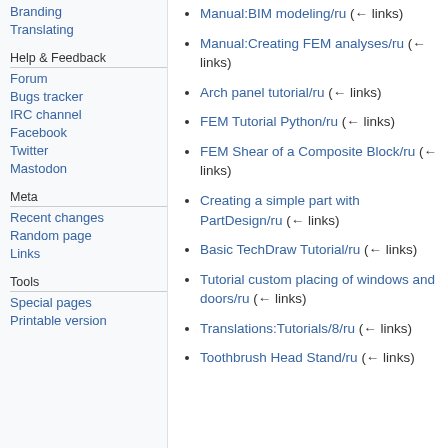Branding
Translating
Help & Feedback
Forum
Bugs tracker
IRC channel
Facebook
Twitter
Mastodon
Meta
Recent changes
Random page
Links
Tools
Special pages
Printable version
Manual:BIM modeling/ru  (← links)
Manual:Creating FEM analyses/ru  (← links)
Arch panel tutorial/ru  (← links)
FEM Tutorial Python/ru  (← links)
FEM Shear of a Composite Block/ru  (← links)
Creating a simple part with PartDesign/ru  (← links)
Basic TechDraw Tutorial/ru  (← links)
Tutorial custom placing of windows and doors/ru  (← links)
Translations:Tutorials/8/ru  (← links)
Toothbrush Head Stand/ru  (← links)